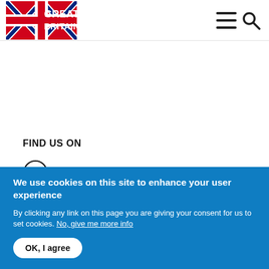GREAT BRITAIN [logo with Union Jack flag, hamburger menu icon, search icon]
FIND US ON
Facebook
Twitter
We use cookies on this site to enhance your user experience
By clicking any link on this page you are giving your consent for us to set cookies. No, give me more info
OK, I agree